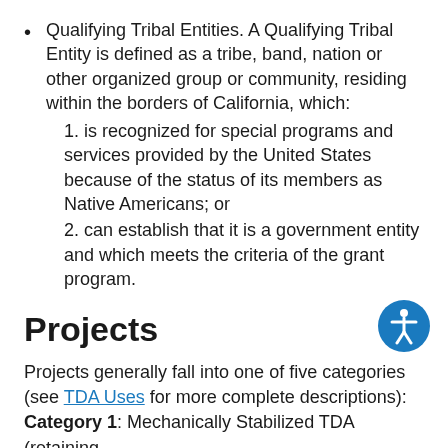Qualifying Tribal Entities. A Qualifying Tribal Entity is defined as a tribe, band, nation or other organized group or community, residing within the borders of California, which:
1. is recognized for special programs and services provided by the United States because of the status of its members as Native Americans; or
2. can establish that it is a government entity and which meets the criteria of the grant program.
Projects
Projects generally fall into one of five categories (see TDA Uses for more complete descriptions): Category 1: Mechanically Stabilized TDA (retaining